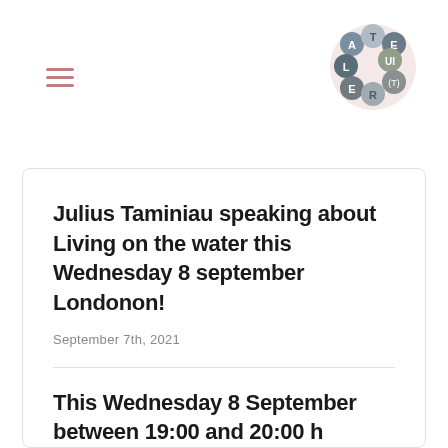[Figure (logo): Atelier(t) logo — circular arrangement of letter bubbles spelling A, T, E, L, U, I, E, R, (T) in grey-blue tones on a light pink circle]
Julius Taminiau speaking about Living on the water this Wednesday 8 september Londonon!
September 7th, 2021
This Wednesday 8 September between 19:00 and 20:00 h